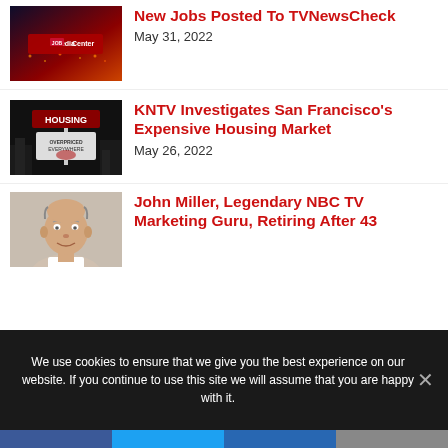[Figure (photo): Media Job Center logo thumbnail with city lights background]
New Jobs Posted To TVNewsCheck
May 31, 2022
[Figure (photo): Housing sign with California bear graphic in black and white]
KNTV Investigates San Francisco's Expensive Housing Market
May 26, 2022
[Figure (photo): Headshot of balding man smiling - John Miller]
John Miller, Legendary NBC TV Marketing Guru, Retiring After 43
We use cookies to ensure that we give you the best experience on our website. If you continue to use this site we will assume that you are happy with it.